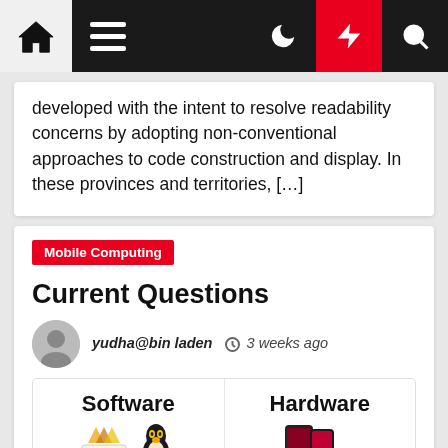Navigation bar with home, menu, moon, lightning, and search icons
developed with the intent to resolve readability concerns by adopting non-conventional approaches to code construction and display. In these provinces and territories, […]
Mobile Computing
Current Questions
yudha@bin laden  ⊙ 3 weeks ago
Software   Hardware